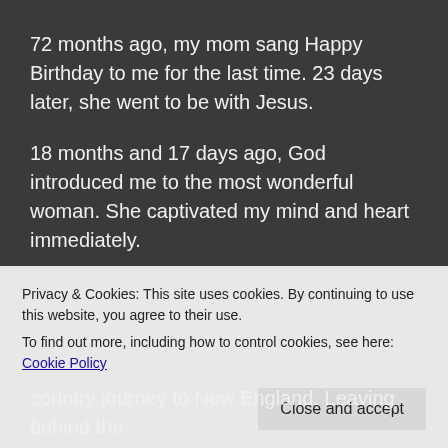72 months ago, my mom sang Happy Birthday to me for the last time. 23 days later, she went to be with Jesus.
18 months and 17 days ago, God introduced me to the most wonderful woman. She captivated my mind and heart immediately.
12 months ago, Sarah-Jane came to visit me from Rhode Island to celebrate my birthday. What a special time we had. Introducing her to friends, family, seeing San Francisco, and sharing a sliver of my life with her
Privacy & Cookies: This site uses cookies. By continuing to use this website, you agree to their use.
To find out more, including how to control cookies, see here: Cookie Policy
country journey to New England. Leaving behind the